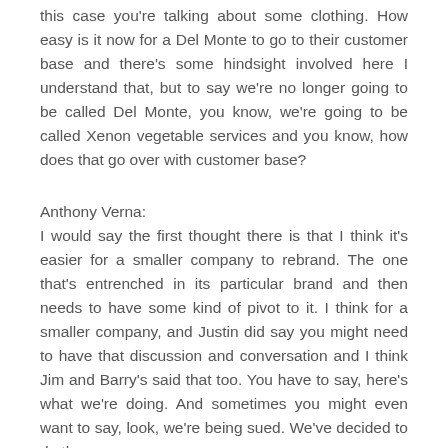this case you're talking about some clothing. How easy is it now for a Del Monte to go to their customer base and there's some hindsight involved here I understand that, but to say we're no longer going to be called Del Monte, you know, we're going to be called Xenon vegetable services and you know, how does that go over with customer base?
Anthony Verna:
I would say the first thought there is that I think it's easier for a smaller company to rebrand. The one that's entrenched in its particular brand and then needs to have some kind of pivot to it. I think for a smaller company, and Justin did say you might need to have that discussion and conversation and I think Jim and Barry's said that too. You have to say, here's what we're doing. And sometimes you might even want to say, look, we're being sued. We've decided to do the